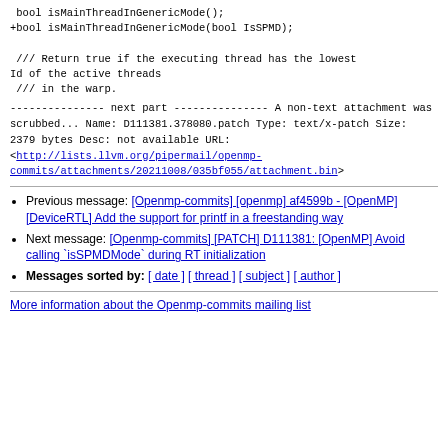bool isMainThreadInGenericMode();
+bool isMainThreadInGenericMode(bool IsSPMD);

 /// Return true if the executing thread has the lowest Id of the active threads
 /// in the warp.
--------------- next part ---------------
A non-text attachment was scrubbed...
Name: D111381.378080.patch
Type: text/x-patch
Size: 2379 bytes
Desc: not available
URL: <http://lists.llvm.org/pipermail/openmp-commits/attachments/20211008/035bf055/attachment.bin>
Previous message: [Openmp-commits][openmp] af4599b - [OpenMP][DeviceRTL] Add the support for printf in a freestanding way
Next message: [Openmp-commits][PATCH] D111381: [OpenMP] Avoid calling `isSPMDMode` during RT initialization
Messages sorted by: [ date ] [ thread ] [ subject ] [ author ]
More information about the Openmp-commits mailing list